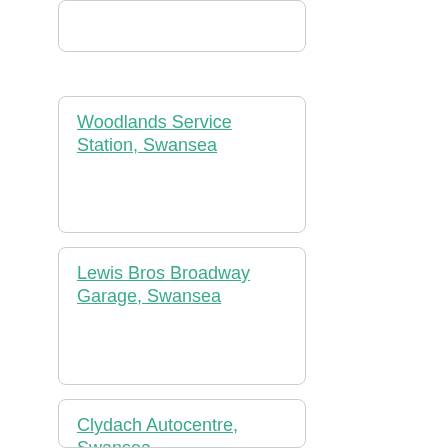Woodlands Service Station, Swansea
Lewis Bros Broadway Garage, Swansea
Clydach Autocentre, Swansea
Sinclair Garages Ltd, Swansea
S G Swansea, Swansea